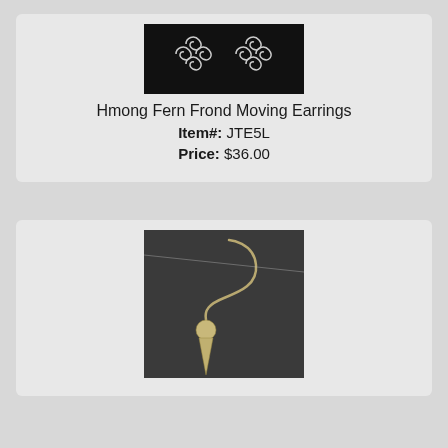[Figure (photo): Photo of Hmong Fern Frond Moving Earrings — two silver spiral/scroll earrings on a black background]
Hmong Fern Frond Moving Earrings
Item#: JTE5L
Price: $36.00
[Figure (photo): Photo of a single silver hook earring with a teardrop/spike pendant on a dark background]